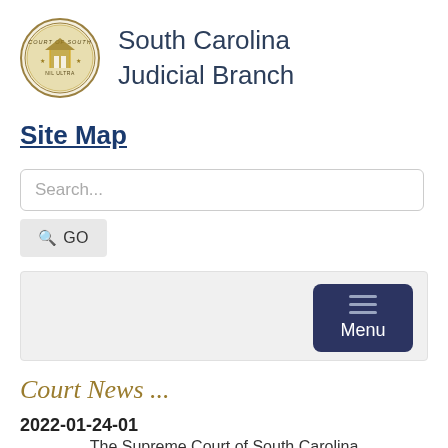[Figure (logo): South Carolina Judicial Branch official seal — circular emblem with gold/brown coloring]
South Carolina Judicial Branch
Site Map
Search...
GO
[Figure (screenshot): Navigation bar with dark blue Menu button showing hamburger icon]
Court News ...
2022-01-24-01
The Supreme Court of South Carolina